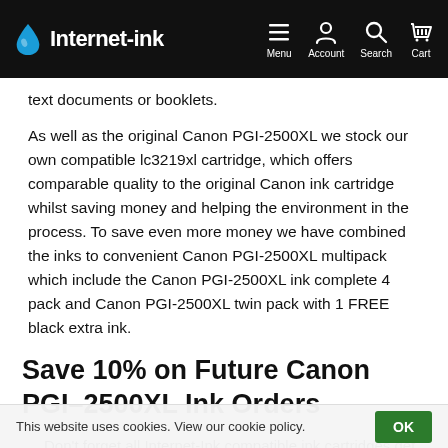Internet-ink — Menu, Account, Search, Cart
text documents or booklets.
As well as the original Canon PGI-2500XL we stock our own compatible lc3219xl cartridge, which offers comparable quality to the original Canon ink cartridge whilst saving money and helping the environment in the process. To save even more money we have combined the inks to convenient Canon PGI-2500XL multipack which include the Canon PGI-2500XL ink complete 4 pack and Canon PGI-2500XL twin pack with 1 FREE black extra ink.
Save 10% on Future Canon PGI–2500XL Ink Orders
Don't forget all Internet-Ink compatible ink cartridges get a 10% return customer discount helping you to make big saving with your compatible PGI-2500XL cartridges.
This website uses cookies. View our cookie policy.